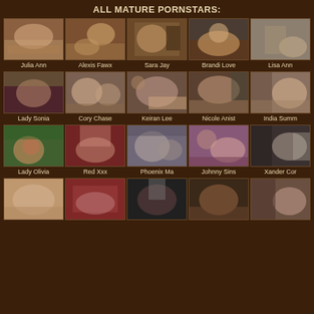ALL MATURE PORNSTARS:
[Figure (photo): Grid of thumbnail images with performer names: Julia Ann, Alexis Fawx, Sara Jay, Brandi Love, Lisa Ann, Lady Sonia, Cory Chase, Keiran Lee, Nicole Aniston, India Summer, Lady Olivia, Red Xxx, Phoenix Marie, Johnny Sins, Xander Corvus, plus 5 more partial thumbnails in bottom row]
Julia Ann
Alexis Fawx
Sara Jay
Brandi Love
Lisa Ann
Lady Sonia
Cory Chase
Keiran Lee
Nicole Anist
India Summ
Lady Olivia
Red Xxx
Phoenix Ma
Johnny Sins
Xander Cor